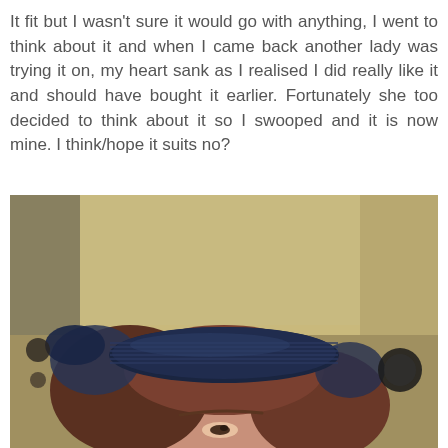It fit but I wasn't sure it would go with anything, I went to think about it and when I came back another lady was trying it on, my heart sank as I realised I did really like it and should have bought it earlier. Fortunately she too decided to think about it so I swooped and it is now mine. I think/hope it suits no?
[Figure (photo): A woman wearing a navy blue fascinator/hat with ridged texture and blue feathers, photographed from above showing her face and the top of her head with reddish-brown hair. Indoor setting with beige walls visible in background.]